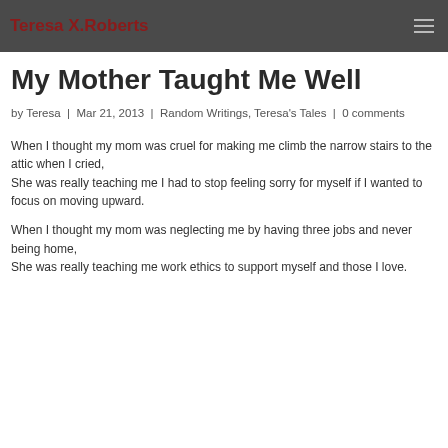Teresa X.Roberts
My Mother Taught Me Well
by Teresa | Mar 21, 2013 | Random Writings, Teresa's Tales | 0 comments
When I thought my mom was cruel for making me climb the narrow stairs to the attic when I cried,
She was really teaching me I had to stop feeling sorry for myself if I wanted to focus on moving upward.
When I thought my mom was neglecting me by having three jobs and never being home,
She was really teaching me work ethics to support myself and those I love.